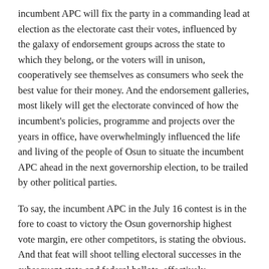incumbent APC will fix the party in a commanding lead at election as the electorate cast their votes, influenced by the galaxy of endorsement groups across the state to which they belong, or the voters will in unison, cooperatively see themselves as consumers who seek the best value for their money. And the endorsement galleries, most likely will get the electorate convinced of how the incumbent's policies, programme and projects over the years in office, have overwhelmingly influenced the life and living of the people of Osun to situate the incumbent APC ahead in the next governorship election, to be trailed by other political parties.
To say, the incumbent APC in the July 16 contest is in the fore to coast to victory the Osun governorship highest vote margin, ere other competitors, is stating the obvious. And that feat will shoot telling electoral successes in the subsequent state and federal ballots, effectively determining where the electoral pendulum swings.
Olusesi writes via isaacolusesi@gmail.com